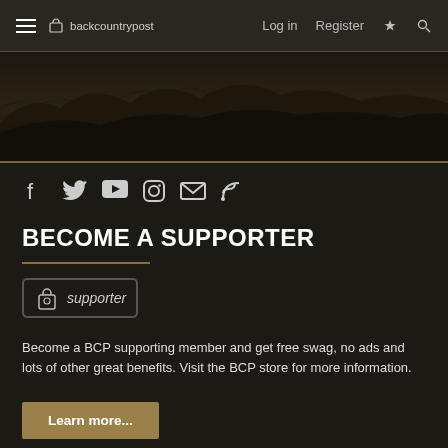backcountrypost — Log in  Register
[Figure (photo): Dark mountain landscape hero banner image with muted brown/black tones]
[Figure (infographic): Social media icons row: Facebook, Twitter, YouTube, Instagram, Email, RSS]
BECOME A SUPPORTER
[Figure (logo): Supporter badge icon with backpack and text 'supporter']
Become a BCP supporting member and get free swag, no ads and lots of other great benefits. Visit the BCP store for more information.
Learn more...